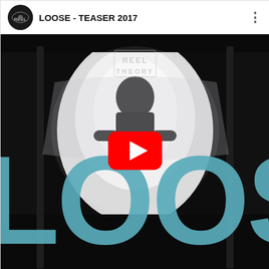[Figure (screenshot): YouTube video thumbnail card for 'LOOSE - TEASER 2017' by a channel with a circular logo. The thumbnail shows a dark, moody photo of a person silhouetted in the open door/hatch of a vehicle with light streaming in from behind. Large teal/steel-blue letters spelling 'LOOSE' are overlaid in the lower portion of the thumbnail. A YouTube play button (red circle with white triangle) is centered over the image. A channel logo (circular, dark/grunge style) and the text 'LOOSE - TEASER 2017' appear in the header bar above the thumbnail. A three-dot menu icon appears in the top right. A brand logo watermark appears centered near the top of the thumbnail image.]